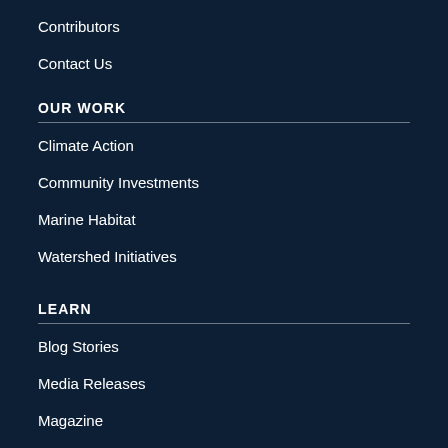Contributors
Contact Us
OUR WORK
Climate Action
Community Investments
Marine Habitat
Watershed Initiatives
LEARN
Blog Stories
Media Releases
Magazine